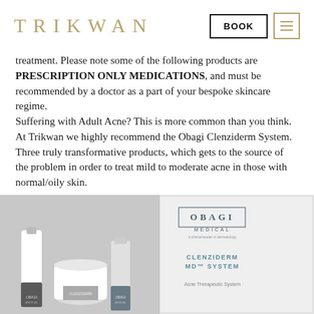TRIKWAN
treatment. Please note some of the following products are PRESCRIPTION ONLY MEDICATIONS, and must be recommended by a doctor as a part of your bespoke skincare regime. Suffering with Adult Acne? This is more common than you think. At Trikwan we highly recommend the Obagi Clenziderm System. Three truly transformative products, which gets to the source of the problem in order to treat mild to moderate acne in those with normal/oily skin.
[Figure (photo): Obagi Medical Clenziderm MD System product photo showing multiple skincare bottles and jars alongside the Obagi Medical Clenziderm MD System box with text reading 'Acne Therapeutic System']